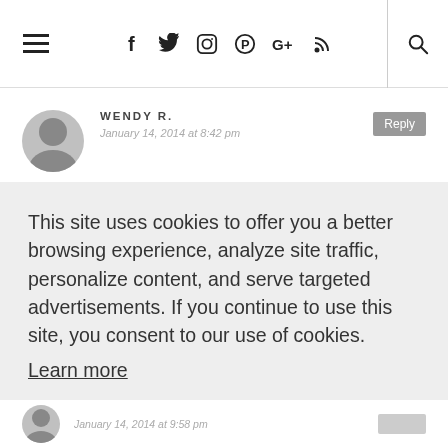≡  f  Twitter  Instagram  Pinterest  G+  RSS  Search
WENDY R.
January 14, 2014 at 8:42 pm
This site uses cookies to offer you a better browsing experience, analyze site traffic, personalize content, and serve targeted advertisements. If you continue to use this site, you consent to our use of cookies.
Learn more
I AGREE
January 14, 2014 at 9:58 pm